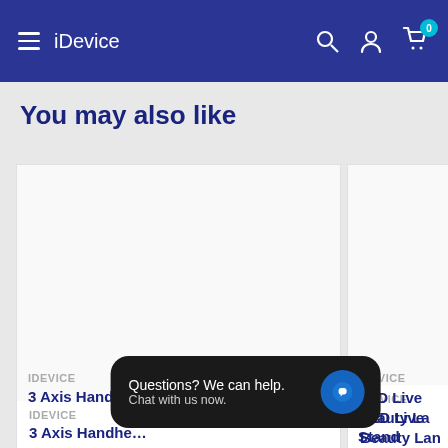iDevice
You may also like
IDEVICE
3 Axis Handhe…
IDEVICE
LED Live Beauty Lamp Stand
Questions? We can help. Chat with us now.